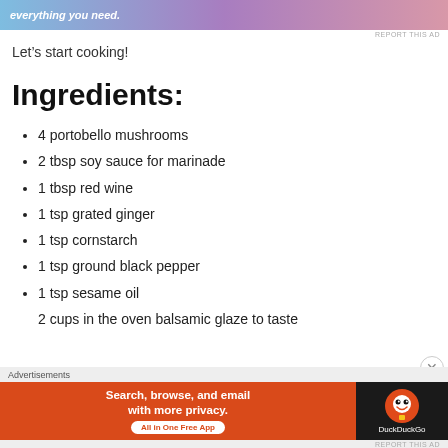[Figure (other): Top advertisement banner with gradient background showing partial text 'everything you need.']
REPORT THIS AD
Let's start cooking!
Ingredients:
4 portobello mushrooms
2 tbsp soy sauce for marinade
1 tbsp red wine
1 tsp grated ginger
1 tsp cornstarch
1 tsp ground black pepper
1 tsp sesame oil
2 cups in the oven... (partial, cut off)
Advertisements
[Figure (other): DuckDuckGo advertisement banner: 'Search, browse, and email with more privacy. All in One Free App' with DuckDuckGo logo on dark background]